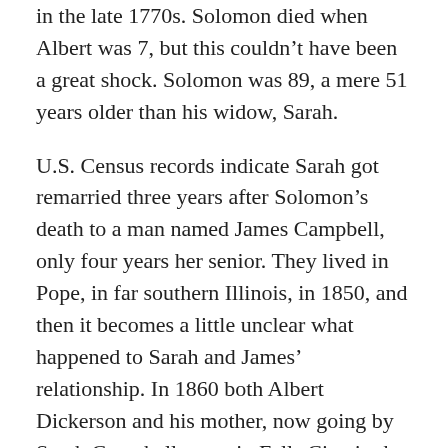in the late 1770s. Solomon died when Albert was 7, but this couldn't have been a great shock. Solomon was 89, a mere 51 years older than his widow, Sarah.
U.S. Census records indicate Sarah got remarried three years after Solomon's death to a man named James Campbell, only four years her senior. They lived in Pope, in far southern Illinois, in 1850, and then it becomes a little unclear what happened to Sarah and James' relationship. In 1860 both Albert Dickerson and his mother, now going by Sarah Campbell, were in Falls City, in the very southeastern corner of Nebraska. The household was a trio, the third being a 40-year-old black laborer named Moses Campbell. Solomon owned slaves – three in 1830, the census shows – so perhaps Moses was a former family slave. Moses was not a slave in 1860; his estate was valued at $250. (Nebraska Territory had still not decided the slavery issue before the Civil War.)